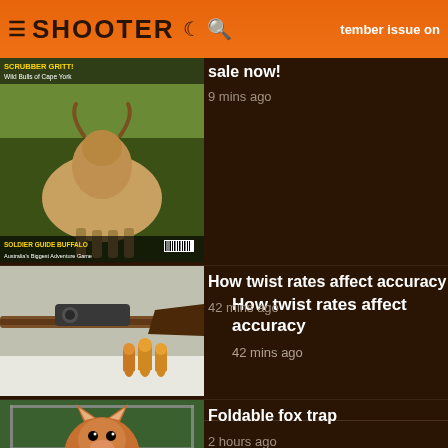SHOOTER
tember issue on sale now!
9 mins ago
How twist rates affect accuracy
42 mins ago
Foldable fox trap
2 hours ago
HOME   PRIVACY   TERMS & CONDITIONS
© 2022 Yaffa Media. All rights reserved.